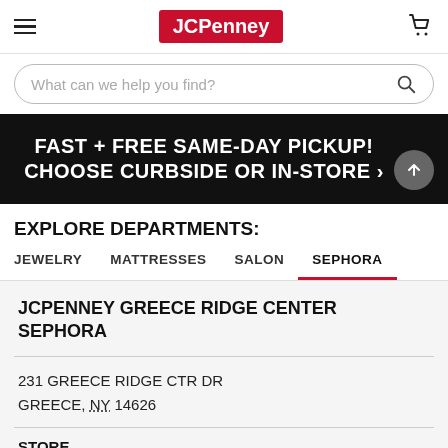JCPenney
What can we help you find?
FAST + FREE SAME-DAY PICKUP! CHOOSE CURBSIDE OR IN-STORE >
EXPLORE DEPARTMENTS:
JEWELRY
MATTRESSES
SALON
SEPHORA
JCPENNEY GREECE RIDGE CENTER SEPHORA
231 GREECE RIDGE CTR DR
GREECE, NY 14626
STORE